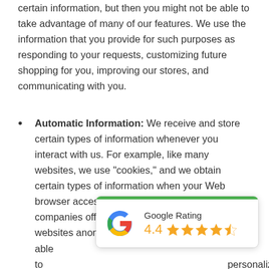certain information, but then you might not be able to take advantage of many of our features. We use the information that you provide for such purposes as responding to your requests, customizing future shopping for you, improving our stores, and communicating with you.
Automatic Information: We receive and store certain types of information whenever you interact with us. For example, like many websites, we use “cookies,” and we obtain certain types of information when your Web browser accesses this site. A number of companies offer utilities designed to help you visit websites anonymously. Although we will not be able to personalized experience recognize you, we want you to be aware that these tools exist.
[Figure (other): Google Rating widget showing 4.4 star rating with Google G logo and green bar at top]